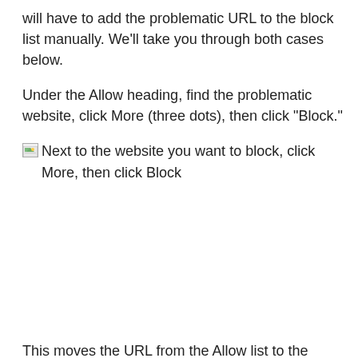will have to add the problematic URL to the block list manually. We'll take you through both cases below.
Under the Allow heading, find the problematic website, click More (three dots), then click “Block.”
Next to the website you want to block, click More, then click Block
[Figure (screenshot): Broken image placeholder indicating a screenshot of a website block interface]
This moves the URL from the Allow list to the Blocked list.